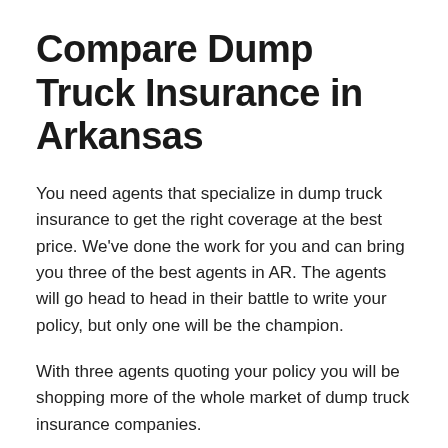Compare Dump Truck Insurance in Arkansas
You need agents that specialize in dump truck insurance to get the right coverage at the best price. We've done the work for you and can bring you three of the best agents in AR. The agents will go head to head in their battle to write your policy, but only one will be the champion.
With three agents quoting your policy you will be shopping more of the whole market of dump truck insurance companies.
Shopping for dump truck insurance has never been this easy or efficient. Don't waste your time hunting down three agents. Let them come to you!